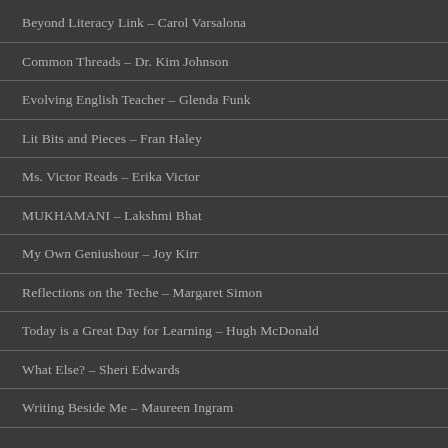Beyond Literacy Link – Carol Varsalona
Common Threads – Dr. Kim Johnson
Evolving English Teacher – Glenda Funk
Lit Bits and Pieces – Fran Haley
Ms. Victor Reads – Erika Victor
MUKHAMANI – Lakshmi Bhat
My Own Geniushour – Joy Kirr
Reflections on the Teche – Margaret Simon
Today is a Great Day for Learning – Hugh McDonald
What Else? – Sheri Edwards
Writing Beside Me – Maureen Ingram